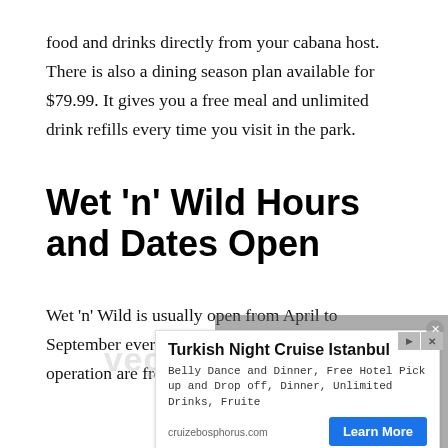food and drinks directly from your cabana host. There is also a dining season plan available for $79.99. It gives you a free meal and unlimited drink refills every time you visit in the park.
Wet 'n' Wild Hours and Dates Open
Wet 'n' Wild is usually open from April to September every year. The park's normal hours of operation are from 10:30am-8pm.
[Figure (other): Video player overlay showing 'No compatible source was found for this media.' with watermark text 'vegasfun.com' visible behind an advertisement overlay. Ad for Turkish Night Cruise Istanbul: 'Belly Dance and Dinner, Free Hotel Pick up and Drop off, Dinner, Unlimited Drinks, Fruite' from cruizebosphorus.com with a Learn More button.]